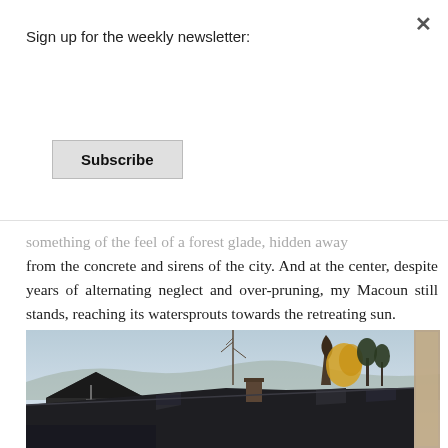Sign up for the weekly newsletter:
Subscribe
something of the feel of a forest glade, hidden away from the concrete and sirens of the city. And at the center, despite years of alternating neglect and over-pruning, my Macoun still stands, reaching its watersprouts towards the retreating sun.
[Figure (photo): Photograph taken from an elevated position showing residential rooftops with dark shingles, house gables, a chimney, and trees in the background including a yellow-leafed tree in autumn color, under a pale winter sky.]